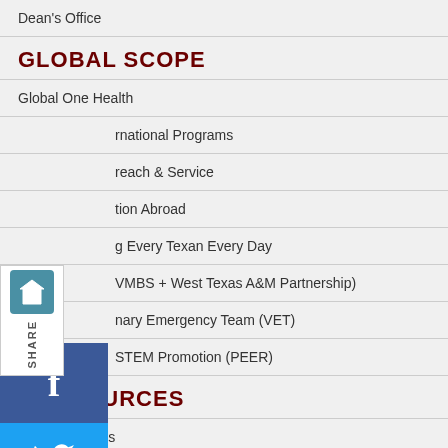Dean's Office
GLOBAL SCOPE
Global One Health
International Programs
Outreach & Service
Education Abroad
Serving Every Texan Every Day
TVMBS + West Texas A&M Partnership)
Veterinary Emergency Team (VET)
STEM Promotion (PEER)
RESOURCES
Remote Access
Contact Information